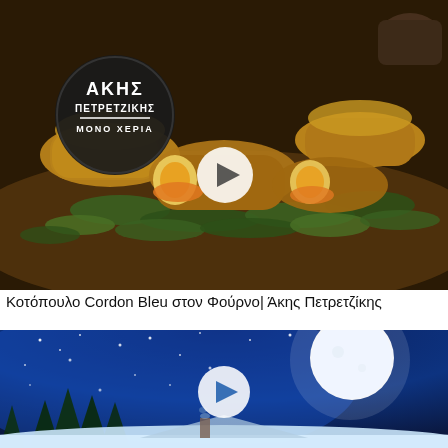[Figure (photo): Breaded chicken cordon bleu on a bed of arugula, one piece cut open revealing melted cheese filling. Black circular logo in upper left reads AKHS PETREZIKHS MONO XEPIA. White play button circle in center of image.]
Κοτόπουλο Cordon Bleu στον Φούρνο| Άκης Πετρετζίκης
[Figure (photo): Winter fantasy scene with snowy rooftop, pine trees in background, large full moon and blue starry sky with snowflakes. White play button circle in center of image.]